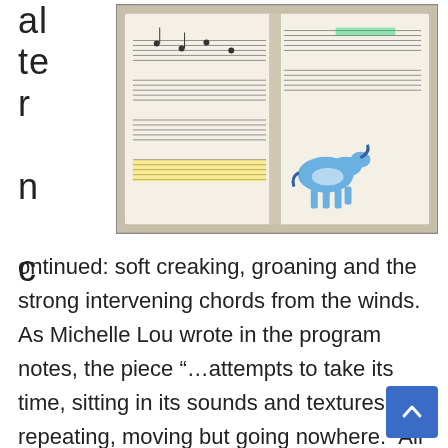al te r n c
[Figure (photo): Open sheet music notebook with handwritten musical notation, and a small blue and white toy horse figurine placed on top of the pages.]
ontinued: soft creaking, groaning and the strong intervening chords from the winds. As Michelle Lou wrote in the program notes, the piece “…attempts to take its time, sitting in its sounds and textures, repeating, moving but going nowhere.” All of this eventually climaxed in a series of forceful horn crescendos, and it was at this point that the players released about a dozen toy windup horses – the source of the previous ratcheting sounds – and they galloped madly off in several directions. More new sounds were heard and at one point wire